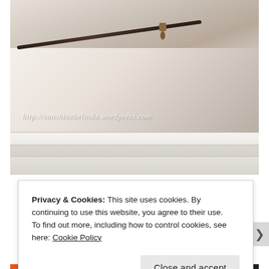[Figure (photo): Close-up photograph of a white canvas pouch/bag with a bronze/antique metal zipper pull, watermarked with http://sunshinebelinda.wordpress.com. Below is a detail shot of white fabric with a horizontal seam/stripe.]
Privacy & Cookies: This site uses cookies. By continuing to use this website, you agree to their use.
To find out more, including how to control cookies, see here: Cookie Policy
Close and accept